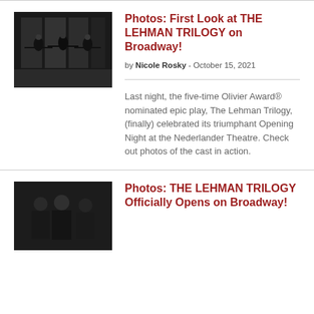[Figure (photo): Black and white photo of three performers on stage with arms outstretched, set against a geometric backdrop]
Photos: First Look at THE LEHMAN TRILOGY on Broadway!
by Nicole Rosky - October 15, 2021
Last night, the five-time Olivier Award® nominated epic play, The Lehman Trilogy, (finally) celebrated its triumphant Opening Night at the Nederlander Theatre. Check out photos of the cast in action.
[Figure (photo): Black and white photo of two or three performers in dark coats standing together on stage]
Photos: THE LEHMAN TRILOGY Officially Opens on Broadway!